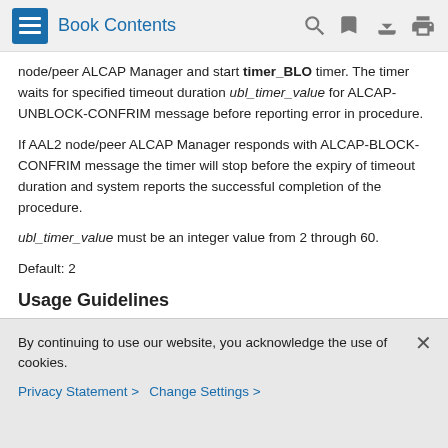Book Contents
node/peer ALCAP Manager and start timer_BLO timer. The timer waits for specified timeout duration ubl_timer_value for ALCAP-UNBLOCK-CONFRIM message before reporting error in procedure.
If AAL2 node/peer ALCAP Manager responds with ALCAP-BLOCK-CONFRIM message the timer will stop before the expiry of timeout duration and system reports the successful completion of the procedure.
ubl_timer_value must be an integer value from 2 through 60.
Default: 2
Usage Guidelines
Use this command to configure the timeout duration for various
By continuing to use our website, you acknowledge the use of cookies.
Privacy Statement > Change Settings >